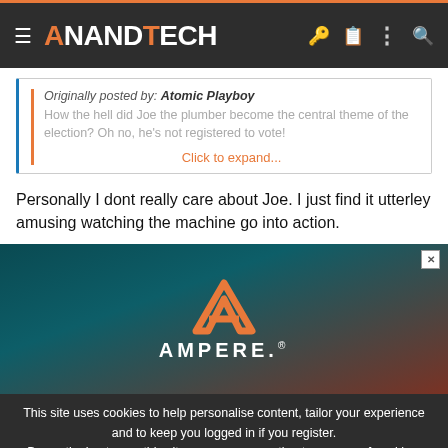AnandTech
Originally posted by: Atomic Playboy
How the hell did Joe the plumber become the central theme of the election? Oh no, he's not registered to vote!
Click to expand...
Personally I dont really care about Joe. I just find it utterley amusing watching the machine go into action.
[Figure (other): AMPERE advertisement banner with orange A-logo on dark teal/brown background]
This site uses cookies to help personalise content, tailor your experience and to keep you logged in if you register.
By continuing to use this site, you are consenting to our use of cookies.